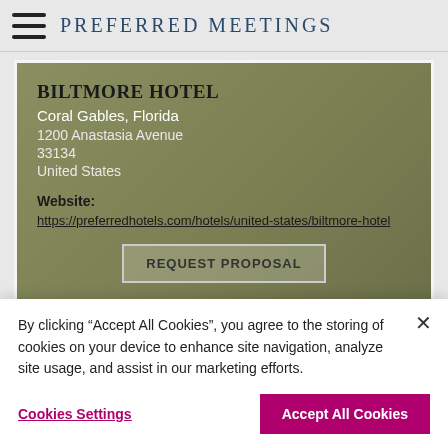PREFERRED MEETINGS
BILTMORE HOTEL
Coral Gables, Florida
1200 Anastasia Avenue
33134
United States

Website:
https://preferredhotels.com/hotels/united-states/biltmore-hotel
REQUEST PROPOSAL
By clicking “Accept All Cookies”, you agree to the storing of cookies on your device to enhance site navigation, analyze site usage, and assist in our marketing efforts.
Cookies Settings
Accept All Cookies